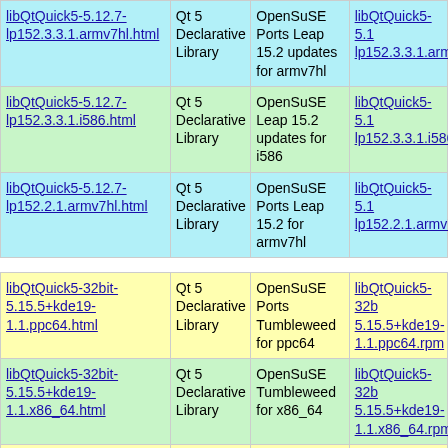| Link | Description | Repository | RPM Link |
| --- | --- | --- | --- |
| libQtQuick5-5.12.7-lp152.3.3.1.armv7hl.html | Qt 5 Declarative Library | OpenSuSE Ports Leap 15.2 updates for armv7hl | libQtQuick5-5.1... lp152.3.3.1.armv... |
| libQtQuick5-5.12.7-lp152.3.3.1.i586.html | Qt 5 Declarative Library | OpenSuSE Leap 15.2 updates for i586 | libQtQuick5-5.1... lp152.3.3.1.i586... |
| libQtQuick5-5.12.7-lp152.2.1.armv7hl.html | Qt 5 Declarative Library | OpenSuSE Ports Leap 15.2 for armv7hl | libQtQuick5-5.1... lp152.2.1.armv7... |
| libQtQuick5-32bit-5.15.5+kde19-1.1.ppc64.html | Qt 5 Declarative Library | OpenSuSE Ports Tumbleweed for ppc64 | libQtQuick5-32b... 5.15.5+kde19-1.1.ppc64.rpm |
| libQtQuick5-32bit-5.15.5+kde19-1.1.x86_64.html | Qt 5 Declarative Library | OpenSuSE Tumbleweed for x86_64 | libQtQuick5-32b... 5.15.5+kde19-1.1.x86_64.rpm |
| libQtQuick5-32bit-5.15.2+kde43-150400.2.5.x86_64.html | Qt 5 Declarative Library | OpenSuSE Leap 15.4 for x86_64 | libQtQuick5-32b... 5.15.2+kde43-150400.2.5.x86_64... |
| libQtQuick5-32bit-... | Qt 5 | OpenSuSE | libQtQuick5-32b... |